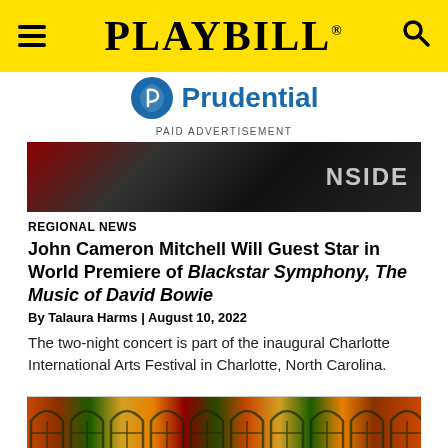PLAYBILL
[Figure (logo): Prudential logo with blue rock/shield icon and blue 'Prudential' wordmark]
PAID ADVERTISEMENT
[Figure (photo): Photo of John Cameron Mitchell in black jacket with red tie, partial view, 'INSIDE' text visible in background]
REGIONAL NEWS
John Cameron Mitchell Will Guest Star in World Premiere of Blackstar Symphony, The Music of David Bowie
By Talaura Harms | August 10, 2022
The two-night concert is part of the inaugural Charlotte International Arts Festival in Charlotte, North Carolina.
[Figure (photo): Colorful stained glass window pattern with arched designs in orange, red, green, and yellow tones]